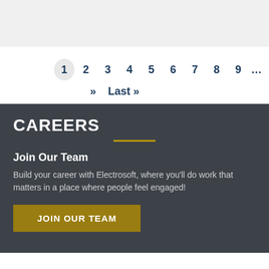[Figure (other): Light gray placeholder area at the top of the page]
1 2 3 4 5 6 7 8 9 …
» Last »
CAREERS
Join Our Team
Build your career with Electrosoft, where you'll do work that matters in a place where people feel engaged!
JOIN OUR TEAM